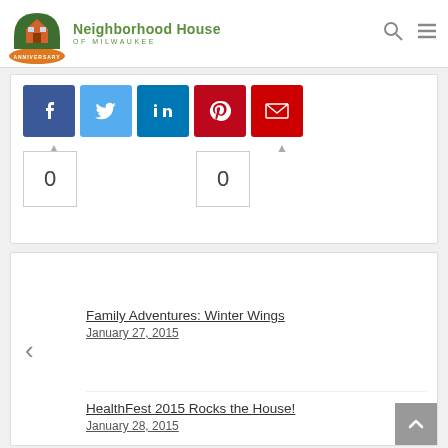[Figure (logo): Neighborhood House of Milwaukee 75th Anniversary logo with green arch and orange house icon]
[Figure (infographic): Social share buttons: Facebook (blue), Twitter (light blue), LinkedIn (blue), Pinterest (red), Email (red), with share counts 0 and 0]
Family Adventures: Winter Wings
January 27, 2015
HealthFest 2015 Rocks the House!
January 28, 2015